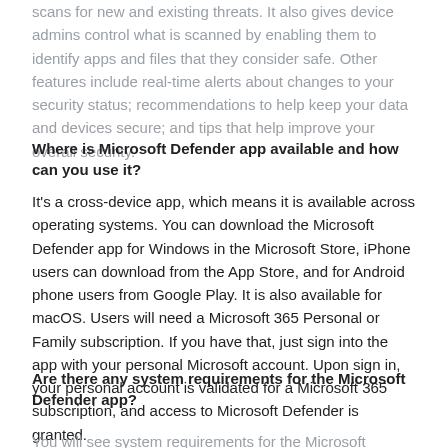scans for new and existing threats. It also gives device admins control what is scanned by enabling them to identify apps and files that they consider safe. Other features include real-time alerts about changes to your security status; recommendations to help keep your data and devices secure; and tips that help improve your overall security.
Where is Microsoft Defender app available and how can you use it?
It's a cross-device app, which means it is available across operating systems. You can download the Microsoft Defender app for Windows in the Microsoft Store, iPhone users can download from the App Store, and for Android phone users from Google Play. It is also available for macOS. Users will need a Microsoft 365 Personal or Family subscription. If you have that, just sign into the app with your personal Microsoft account. Upon sign in, your personal account is validated for a Microsoft 365 subscription, and access to Microsoft Defender is granted.
Are there any system requirements for the Microsoft Defender app?
You will see system requirements for the Microsoft Defender app